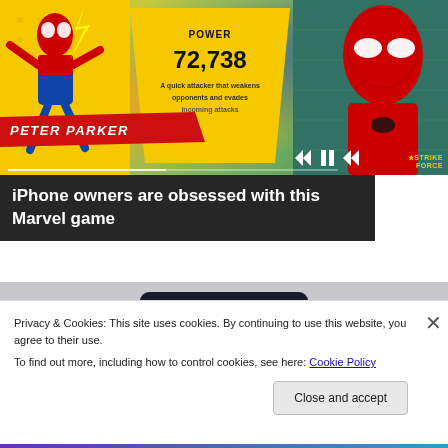[Figure (screenshot): Spider-Man Strike Force mobile game advertisement showing two versions of Spider-Man (animated and movie), with POWER 72,738 displayed on a yellow triangle panel, and media playback controls at bottom.]
iPhone owners are obsessed with this Marvel game
[Figure (photo): Partial view of dark headphones at the top of the frame]
Privacy & Cookies: This site uses cookies. By continuing to use this website, you agree to their use.
To find out more, including how to control cookies, see here: Cookie Policy
Close and accept